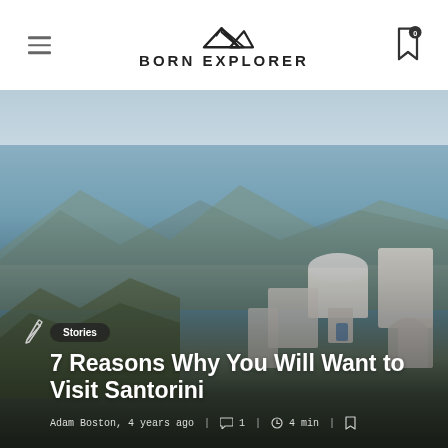Born Explorer
[Figure (photo): Aerial view of Santorini, Greece, showing white-washed buildings, blue rooftops, the caldera sea, and mountains in the background under a hazy sky.]
Stories
7 Reasons Why You Will Want to Visit Santorini
Adam Boston, 4 years ago  1  4 min